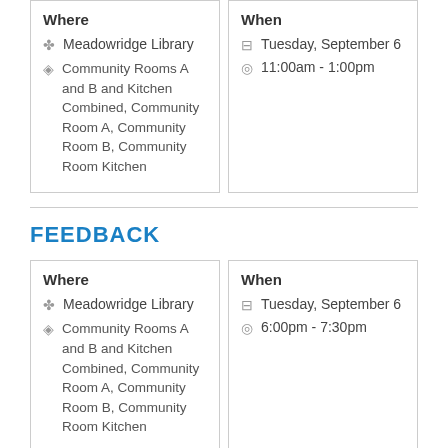Where
Meadowridge Library
Community Rooms A and B and Kitchen Combined, Community Room A, Community Room B, Community Room Kitchen
When
Tuesday, September 6
11:00am - 1:00pm
FEEDBACK
Where
Meadowridge Library
Community Rooms A and B and Kitchen Combined, Community Room A, Community Room B, Community Room Kitchen
When
Tuesday, September 6
6:00pm - 7:30pm